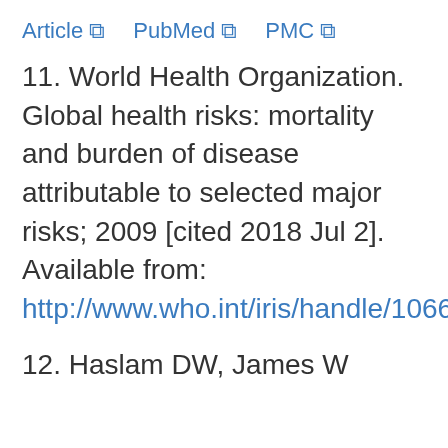Article  PubMed  PMC
11. World Health Organization. Global health risks: mortality and burden of disease attributable to selected major risks; 2009 [cited 2018 Jul 2]. Available from: http://www.who.int/iris/handle/10665/44203.
12. Haslam DW, James W